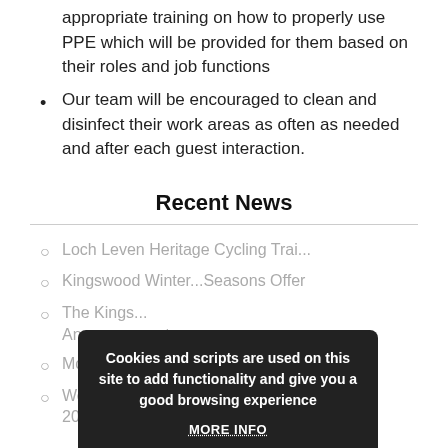appropriate training on how to properly use PPE which will be provided for them based on their roles and job functions
Our team will be encouraged to clean and disinfect their work areas as often as needed and after each guest interaction.
Recent News
Loch Leven Heritage Cycling Trai...
Kingswood Winter...Seasons Offer
The Kings... Announcement
Mother's Day in...
Wedding Bro... For 2020/2021
[Figure (screenshot): Cookie consent popup overlay with dark background reading 'Cookies and scripts are used on this site to add functionality and give you a good browsing experience', with a 'MORE INFO' link and an 'I AM HAPPY TO ACCEPT COOKIES' button.]
News Archive